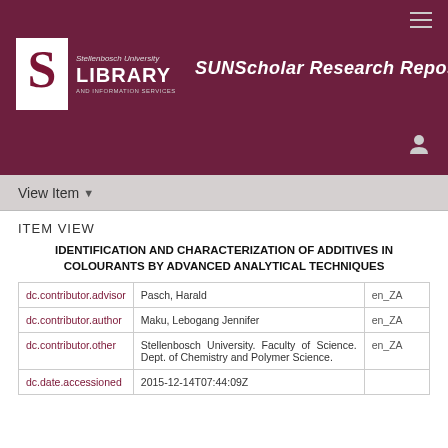Stellenbosch University LIBRARY | AND INFORMATION SERVICES | SUNScholar Research Repository
View Item
ITEM VIEW
IDENTIFICATION AND CHARACTERIZATION OF ADDITIVES IN COLOURANTS BY ADVANCED ANALYTICAL TECHNIQUES
| Field | Value | Language |
| --- | --- | --- |
| dc.contributor.advisor | Pasch, Harald | en_ZA |
| dc.contributor.author | Maku, Lebogang Jennifer | en_ZA |
| dc.contributor.other | Stellenbosch University. Faculty of Science. Dept. of Chemistry and Polymer Science. | en_ZA |
| dc.date.accessioned | 2015-12-14T07:44:09Z |  |